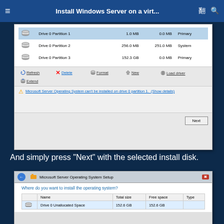Install Windows Server on a virt...
[Figure (screenshot): Windows Server installation partition selection dialog showing Drive 0 Partition 1 (1.0 MB, 0.0 MB, Primary), Drive 0 Partition 2 (256.0 MB, 251.0 MB, System), Drive 0 Partition 3 (152.3 GB, 0.0 MB, Primary). Toolbar with Refresh, Delete, Format, New, Load driver, Extend buttons. Warning: Microsoft Server Operating System can't be installed on drive 0 partition 1. (Show details). Next button.]
And simply press "Next" with the selected install disk.
[Figure (screenshot): Microsoft Server Operating System Setup dialog. Question: Where do you want to install the operating system? Table with columns Name, Total size, Free space, Type. Row: Drive 0 Unallocated Space, 152.6 GB, 152.6 GB.]